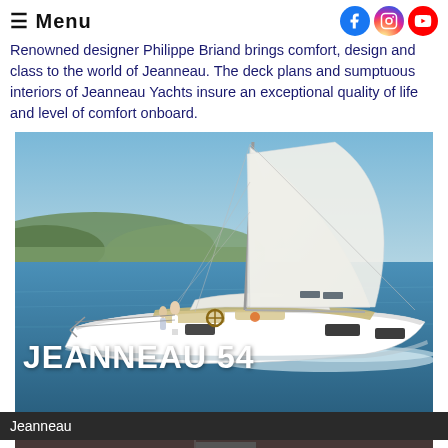≡ Menu
Renowned designer Philippe Briand brings comfort, design and class to the world of Jeanneau. The deck plans and sumptuous interiors of Jeanneau Yachts insure an exceptional quality of life and level of comfort onboard.
[Figure (photo): Aerial view of a Jeanneau 54 sailing yacht underway on the sea with white sails deployed, crew on deck, with a coastline and hills in the background. Text 'JEANNEAU 54' overlaid at the bottom left in large white bold font.]
Jeanneau